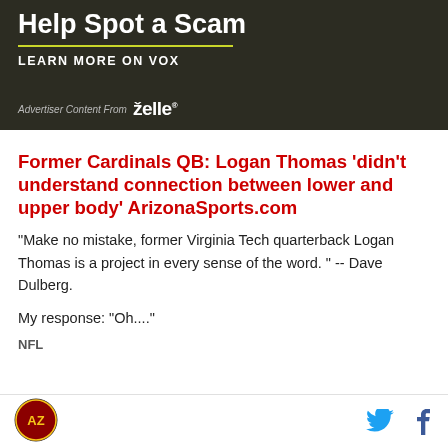[Figure (other): Dark olive/charcoal advertisement banner for Zelle. Shows large white bold text 'Help Spot a Scam', a yellow-green horizontal line, bold white text 'LEARN MORE ON VOX', and at bottom 'Advertiser Content From' followed by the Zelle logo in white.]
Former Cardinals QB: Logan Thomas 'didn't understand connection between lower and upper body' ArizonaSports.com
"Make no mistake, former Virginia Tech quarterback Logan Thomas is a project in every sense of the word. " -- Dave Dulberg.
My response: "Oh...."
NFL
[Figure (logo): Arizona Cardinals circular logo in bottom left footer]
[Figure (other): Twitter bird icon in cyan/blue and Facebook 'f' icon in dark blue in the bottom right footer]